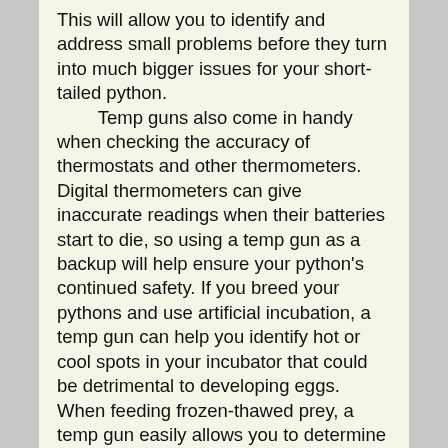This will allow you to identify and address small problems before they turn into much bigger issues for your short-tailed python.
	Temp guns also come in handy when checking the accuracy of thermostats and other thermometers. Digital thermometers can give inaccurate readings when their batteries start to die, so using a temp gun as a backup will help ensure your python's continued safety. If you breed your pythons and use artificial incubation, a temp gun can help you identify hot or cool spots in your incubator that could be detrimental to developing eggs. When feeding frozen-thawed prey, a temp gun easily allows you to determine the surface temperature of the prey item, and whether it needs to be warmer or cooler for your python to readily accept it. There are so many scenarios in which a temp gun comes in handy that it almost doesn't make sense to go without one. Get a good temp gun, take care of it, replace batteries according to the manufacturer's instructions, and you'll have a